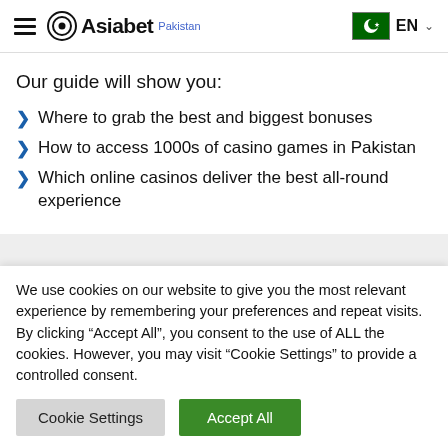Asiabet Pakistan — EN
Our guide will show you:
Where to grab the best and biggest bonuses
How to access 1000s of casino games in Pakistan
Which online casinos deliver the best all-round experience
Best Online Casinos August 24
We use cookies on our website to give you the most relevant experience by remembering your preferences and repeat visits. By clicking "Accept All", you consent to the use of ALL the cookies. However, you may visit "Cookie Settings" to provide a controlled consent.